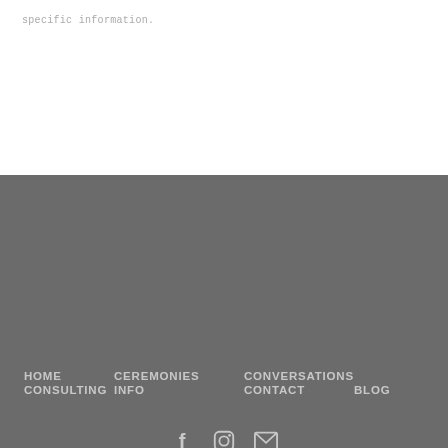specific information.
HOME   CEREMONIES   CONVERSATIONS   CONSULTING   INFO   CONTACT   BLOG
[Figure (other): Social media icons: Facebook, Instagram, Email]
Grace Ceremonies   60 Maple St #2D, Northampton, MA 01062   (413) 362-6030
5 stars - based on 155 WeddingWire reviews
© 2022 Grace Ceremonies